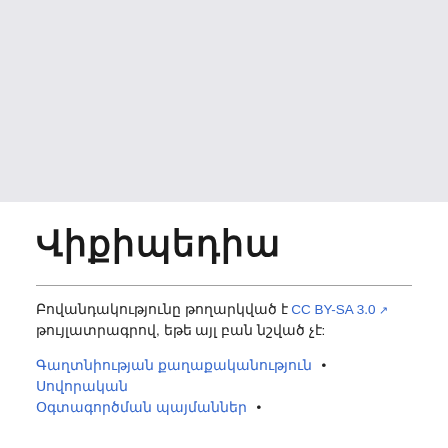ՎԻՔԻՊԵԴԻԱ
Բովանդակությունը թողարկված է CC BY-SA 3.0 թույլատրագրով, եթե այլ բան նշված չէ:
Գաղտնիության քաղաքականություն • Սովորական Օգտագործման պայմաններ •